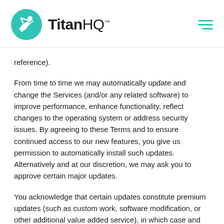TitanHQ
reference).
From time to time we may automatically update and change the Services (and/or any related software) to improve performance, enhance functionality, reflect changes to the operating system or address security issues. By agreeing to these Terms and to ensure continued access to our new features, you give us permission to automatically install such updates. Alternatively and at our discretion, we may ask you to approve certain major updates.
You acknowledge that certain updates constitute premium updates (such as custom work, software modification, or other additional value added service), in which case and subject to the prior written agreement between you and